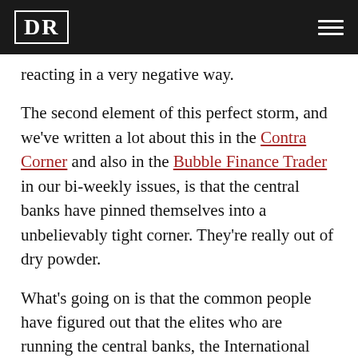DR
reacting in a very negative way.
The second element of this perfect storm, and we've written a lot about this in the Contra Corner and also in the Bubble Finance Trader in our bi-weekly issues, is that the central banks have pinned themselves into a unbelievably tight corner. They're really out of dry powder.
What's going on is that the common people have figured out that the elites who are running the central banks, the International Monetary Fund (IMF), the G20 and managing these tremendous bubbles arise from Wall Street and don't know what they're doing. They are going to be a problem for everyone. This is